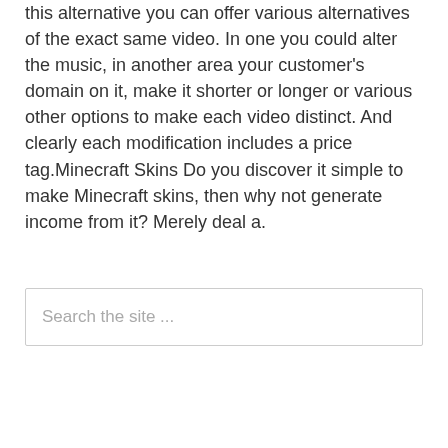this alternative you can offer various alternatives of the exact same video. In one you could alter the music, in another area your customer's domain on it, make it shorter or longer or various other options to make each video distinct. And clearly each modification includes a price tag.Minecraft Skins Do you discover it simple to make Minecraft skins, then why not generate income from it? Merely deal a.
Search the site ...